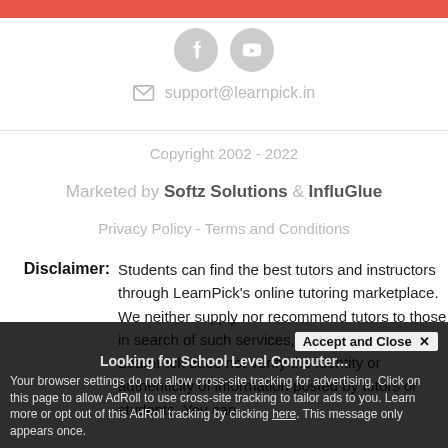[Figure (illustration): Red/coral horizontal bar at top of page]
[Figure (illustration): Two social media icon circles (Facebook and YouTube) in light gray]
support@learnpick.in
Copyright 2002 - 2022
Marketed by Softz Solutions & InfluGlue
Privacy Policy - Terms and Conditions
Disclaimer: Students can find the best tutors and instructors through LearnPick's online tutoring marketplace. We neither supply nor recommend tutors to those in search of such services, and vice-versa. LearnPick does not verify the identity or authenticity of information posted by tutors or students. You can
Looking for School Level Computer...
Accept and Close ✕
Your browser settings do not allow cross-site tracking for advertising. Click on this page to allow AdRoll to use cross-site tracking to tailor ads to you. Learn more or opt out of this AdRoll tracking by clicking here. This message only appears once.